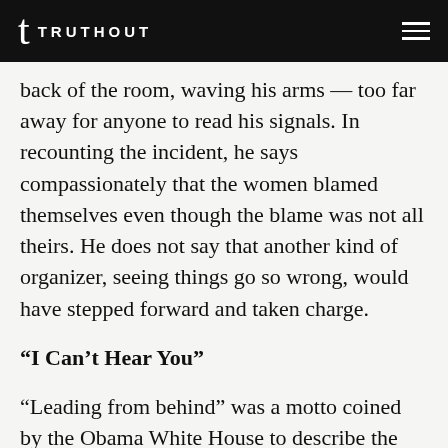TRUTHOUT
back of the room, waving his arms — too far away for anyone to read his signals. In recounting the incident, he says compassionately that the women blamed themselves even though the blame was not all theirs. He does not say that another kind of organizer, seeing things go so wrong, would have stepped forward and taken charge.
“I Can’t Hear You”
“Leading from behind” was a motto coined by the Obama White House to describe the